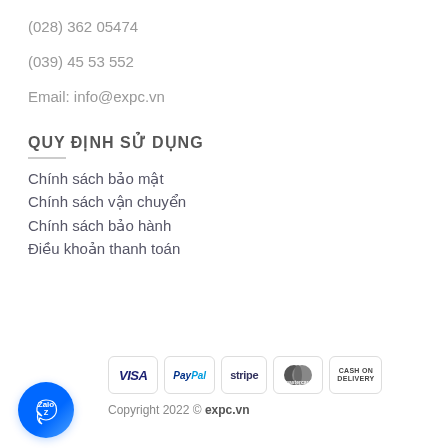(028) 362 05474
(039) 45 53 552
Email: info@expc.vn
QUY ĐỊNH SỬ DỤNG
Chính sách bảo mật
Chính sách vận chuyển
Chính sách bảo hành
Điều khoản thanh toán
[Figure (logo): Payment method logos: VISA, PayPal, stripe, MasterCard, CASH ON DELIVERY]
[Figure (logo): Zalo chat button - circular blue button with Zalo logo]
Copyright 2022 © expc.vn